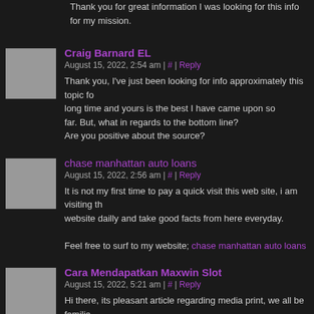Thank you for great information I was looking for this info for my mission.
Craig Barnard EL
August 15, 2022, 2:54 am | # | Reply
Thank you, I've just been looking for info approximately this topic for a long time and yours is the best I have came upon so far. But, what in regards to the bottom line? Are you positive about the source?
chase manhattan auto loans
August 15, 2022, 2:56 am | # | Reply
It is not my first time to pay a quick visit this web site, i am visiting this website dailly and take good facts from here everyday.
Feel free to surf to my website; chase manhattan auto loans
Cara Mendapatkan Maxwin Slot
August 15, 2022, 5:21 am | # | Reply
Hi there, its pleasant article regarding media print, we all be familiar fantastic source of facts.
유 유유유
August 15, 2022, 6:38 am | Reply